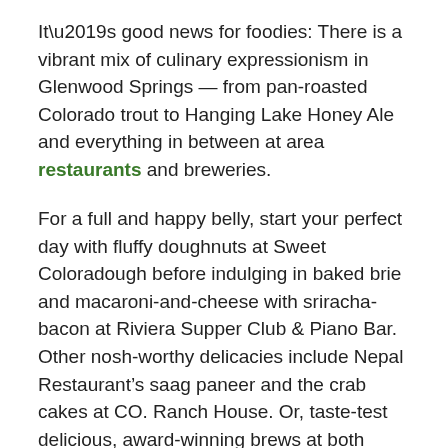It’s good news for foodies: There is a vibrant mix of culinary expressionism in Glenwood Springs — from pan-roasted Colorado trout to Hanging Lake Honey Ale and everything in between at area restaurants and breweries.
For a full and happy belly, start your perfect day with fluffy doughnuts at Sweet Coloradough before indulging in baked brie and macaroni-and-cheese with sriracha-bacon at Riviera Supper Club & Piano Bar. Other nosh-worthy delicacies include Nepal Restaurant’s saag paneer and the crab cakes at CO. Ranch House. Or, taste-test delicious, award-winning brews at both Glenwood Canyon Brewing Company and Casey Brewing Tap Room.
5. GLENWOOD SPRINGS RUNS ON 100 PERCENT